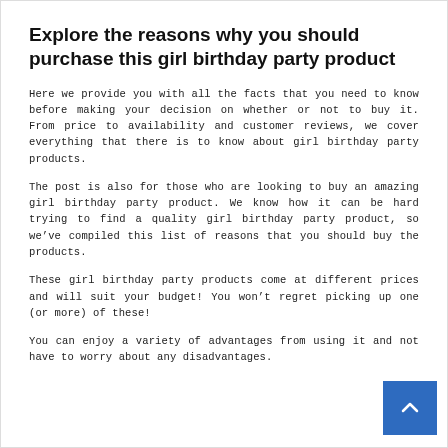Explore the reasons why you should purchase this girl birthday party product
Here we provide you with all the facts that you need to know before making your decision on whether or not to buy it. From price to availability and customer reviews, we cover everything that there is to know about girl birthday party products.
The post is also for those who are looking to buy an amazing girl birthday party product. We know how it can be hard trying to find a quality girl birthday party product, so we’ve compiled this list of reasons that you should buy the products.
These girl birthday party products come at different prices and will suit your budget! You won’t regret picking up one (or more) of these!
You can enjoy a variety of advantages from using it and not have to worry about any disadvantages.